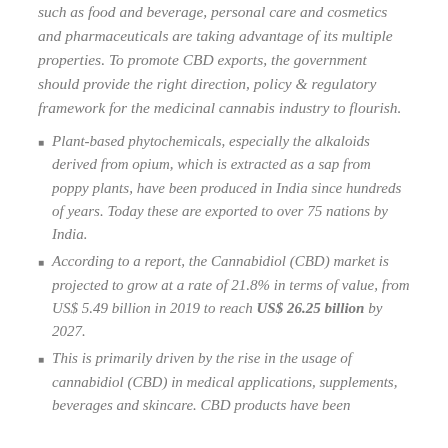such as food and beverage, personal care and cosmetics and pharmaceuticals are taking advantage of its multiple properties. To promote CBD exports, the government should provide the right direction, policy & regulatory framework for the medicinal cannabis industry to flourish.
Plant-based phytochemicals, especially the alkaloids derived from opium, which is extracted as a sap from poppy plants, have been produced in India since hundreds of years. Today these are exported to over 75 nations by India.
According to a report, the Cannabidiol (CBD) market is projected to grow at a rate of 21.8% in terms of value, from US$ 5.49 billion in 2019 to reach US$ 26.25 billion by 2027.
This is primarily driven by the rise in the usage of cannabidiol (CBD) in medical applications, supplements, beverages and skincare. CBD products have been